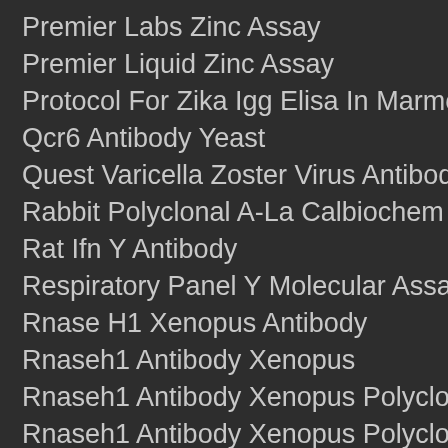Premier Labs Zinc Assay
Premier Liquid Zinc Assay
Protocol For Zika Igg Elisa In Marmoset Serum
Qcr6 Antibody Yeast
Quest Varicella Zoster Virus Antibody Tube
Rabbit Polyclonal A-La Calbiochem
Rat Ifn Y Antibody
Respiratory Panel Y Molecular Assay
Rnase H1 Xenopus Antibody
Rnaseh1 Antibody Xenopus
Rnaseh1 Antibody Xenopus Polyclonal
Rnaseh1 Antibody Xenopus Polyclonal